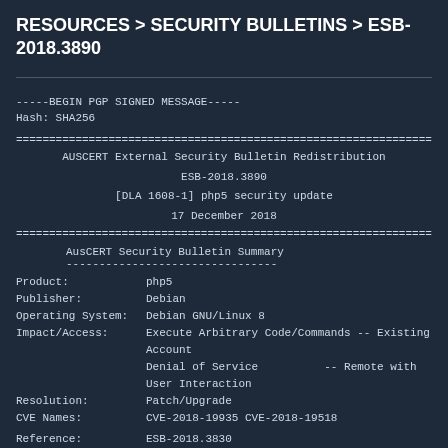RESOURCES > SECURITY BULLETINS > ESB-2018.3890
-----BEGIN PGP SIGNED MESSAGE-----
Hash: SHA256
==============================================================================
        AUSCERT External Security Bulletin Redistribution

                          ESB-2018.3890
              [DLA 1608-1] php5 security update
                        17 December 2018
==============================================================================
AusCERT Security Bulletin Summary
Product:          php5
Publisher:         Debian
Operating System:  Debian GNU/Linux 8
Impact/Access:    Execute Arbitrary Code/Commands -- Existing Account
                  Denial of Service              -- Remote with User Interaction
Resolution:       Patch/Upgrade
CVE Names:        CVE-2018-19935 CVE-2018-19518
Reference:        ESB-2018.3830